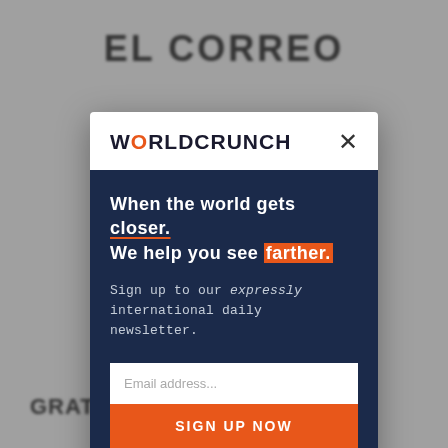[Figure (screenshot): Blurred background showing a webpage header with 'EL CORREO' text and navigation elements]
WORLDCRUNCH
When the world gets closer. We help you see farther.
Sign up to our expressly international daily newsletter.
Email address...
SIGN UP NOW